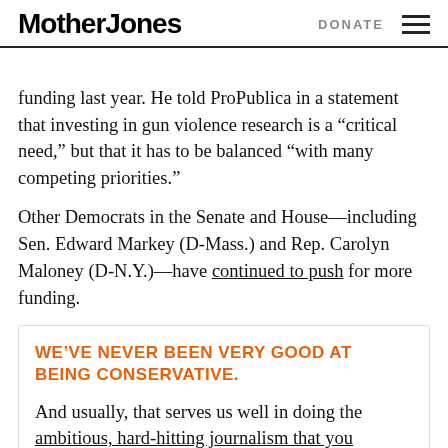Mother Jones | DONATE
funding last year. He told ProPublica in a statement that investing in gun violence research is a “critical need,” but that it has to be balanced “with many competing priorities.”
Other Democrats in the Senate and House—including Sen. Edward Markey (D-Mass.) and Rep. Carolyn Maloney (D-N.Y.)—have continued to push for more funding.
WE’VE NEVER BEEN VERY GOOD AT BEING CONSERVATIVE.
And usually, that serves us well in doing the ambitious, hard-hitting journalism that you